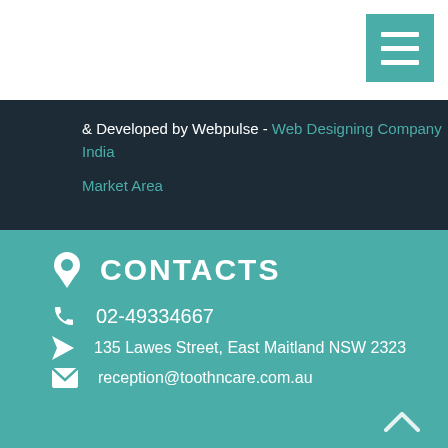[Figure (other): Navigation menu hamburger button (three horizontal lines) on white background, teal/green color]
& Developed by Webpulse - Web Designing Company India
Market Area
CONTACTS
02-49334667
135 Lawes Street, East Maitland NSW 2323
reception@toothncare.com.au